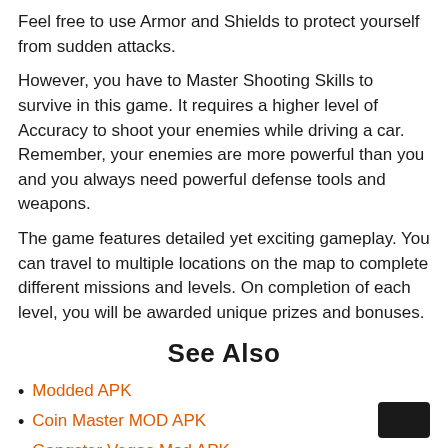Feel free to use Armor and Shields to protect yourself from sudden attacks.
However, you have to Master Shooting Skills to survive in this game. It requires a higher level of Accuracy to shoot your enemies while driving a car. Remember, your enemies are more powerful than you and you always need powerful defense tools and weapons.
The game features detailed yet exciting gameplay. You can travel to multiple locations on the map to complete different missions and levels. On completion of each level, you will be awarded unique prizes and bonuses.
See Also
Modded APK
Coin Master MOD APK
Gangster Vegas Mod APK
Grow Castle MOD APK
Damon PS2 Pro APK